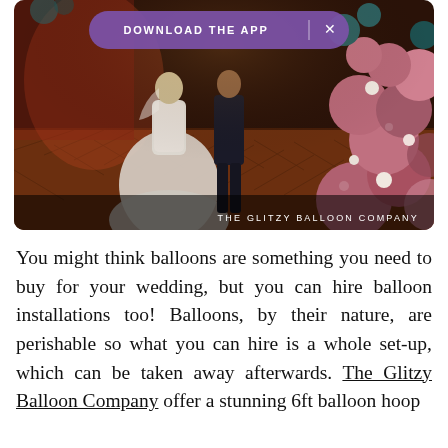[Figure (photo): Wedding couple dancing on a parquet floor with large pink/mauve balloon arch installation behind them, with flowers. A purple app download banner overlay at the top reads 'DOWNLOAD THE APP' with an X button. At the bottom right a dark overlay reads 'THE GLITZY BALLOON COMPANY'.]
You might think balloons are something you need to buy for your wedding, but you can hire balloon installations too! Balloons, by their nature, are perishable so what you can hire is a whole set-up, which can be taken away afterwards. The Glitzy Balloon Company offer a stunning 6ft balloon hoop